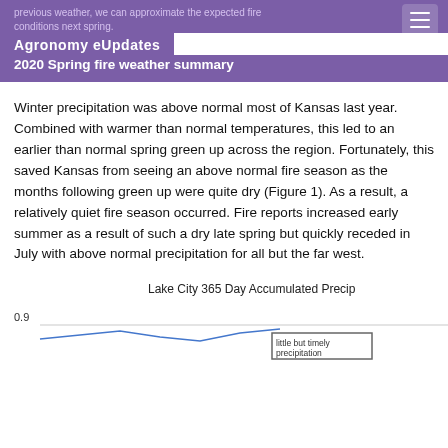previous weather, we can approximate the expected fire conditions next spring.
Agronomy eUpdates
2020 Spring fire weather summary
Winter precipitation was above normal most of Kansas last year. Combined with warmer than normal temperatures, this led to an earlier than normal spring green up across the region. Fortunately, this saved Kansas from seeing an above normal fire season as the months following green up were quite dry (Figure 1). As a result, a relatively quiet fire season occurred. Fire reports increased early summer as a result of such a dry late spring but quickly receded in July with above normal precipitation for all but the far west.
[Figure (continuous-plot): Lake City 365 Day Accumulated Precipitation chart, partially visible, showing a line graph with y-axis starting at 0.9 and a legend box visible at bottom right]